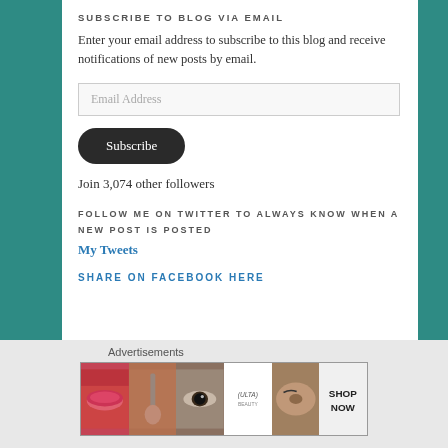SUBSCRIBE TO BLOG VIA EMAIL
Enter your email address to subscribe to this blog and receive notifications of new posts by email.
Email Address
Subscribe
Join 3,074 other followers
FOLLOW ME ON TWITTER TO ALWAYS KNOW WHEN A NEW POST IS POSTED
My Tweets
SHARE ON FACEBOOK HERE
Advertisements
[Figure (photo): Advertisement banner showing makeup and beauty products including lips, brush, eye, Ulta logo, brows, and SHOP NOW text]